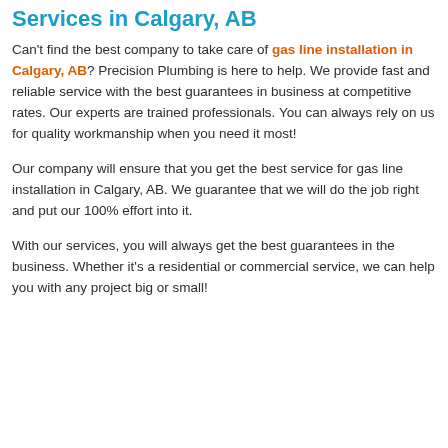Services in Calgary, AB
Can't find the best company to take care of gas line installation in Calgary, AB? Precision Plumbing is here to help. We provide fast and reliable service with the best guarantees in business at competitive rates. Our experts are trained professionals. You can always rely on us for quality workmanship when you need it most!
Our company will ensure that you get the best service for gas line installation in Calgary, AB. We guarantee that we will do the job right and put our 100% effort into it.
With our services, you will always get the best guarantees in the business. Whether it's a residential or commercial service, we can help you with any project big or small!